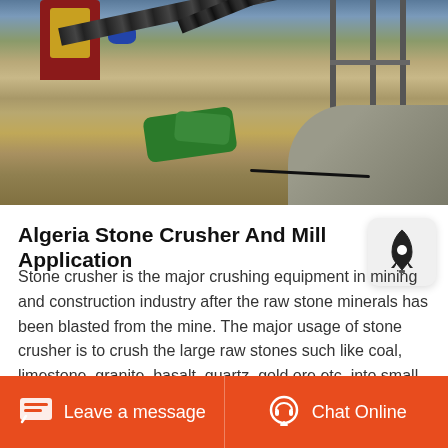[Figure (photo): Outdoor stone crushing facility with red machinery, conveyor belts, steel frame scaffolding, green tarps on ground, and a large dirt/gravel mound in background]
Algeria Stone Crusher And Mill Application
Stone crusher is the major crushing equipment in mining and construction industry after the raw stone minerals has been blasted from the mine. The major usage of stone crusher is to crush the large raw stones such like coal, limestone, granite, basalt, quartz, gold ore etc. into small particles with
Leave a message   Chat Online